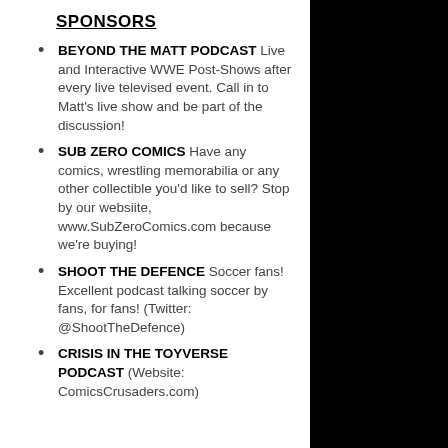SPONSORS
BEYOND THE MATT PODCAST Live and Interactive WWE Post-Shows after every live televised event. Call in to Matt’s live show and be part of the discussion!
SUB ZERO COMICS Have any comics, wrestling memorabilia or any other collectible you’d like to sell? Stop by our websiite, www.SubZeroComics.com because we’re buying!
SHOOT THE DEFENCE Soccer fans! Excellent podcast talking soccer by fans, for fans! (Twitter: @ShootTheDefence)
CRISIS IN THE TOYVERSE PODCAST (Website: ComicsCrusaders.com)